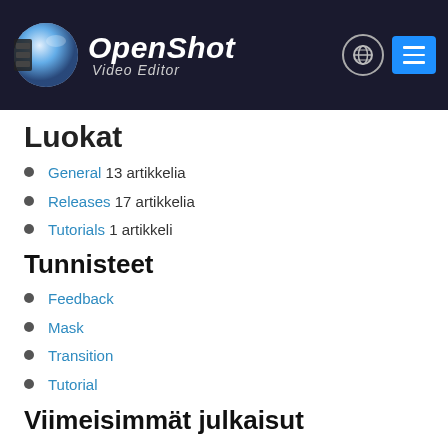OpenShot Video Editor
Luokat
General 13 artikkelia
Releases 17 artikkelia
Tutorials 1 artikkeli
Tunnisteet
Feedback
Mask
Transition
Tutorial
Viimeisimmät julkaisut
OpenShot 2.6.1 Released | Improved Crop + Translations + Bug Fixes
OpenShot 2.6.0 Released | AI + Computer Vision + Audio